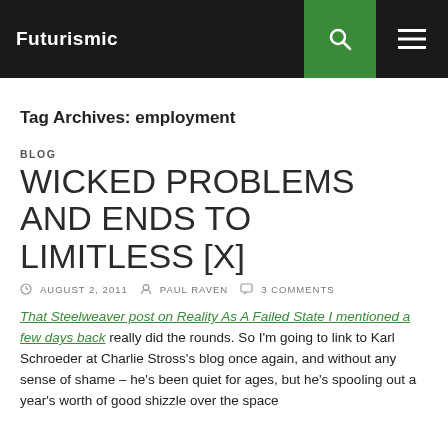Futurismic
Tag Archives: employment
BLOG
WICKED PROBLEMS AND ENDS TO LIMITLESS [X]
AUGUST 2, 2011  PAUL RAVEN  3 COMMENTS
That Steelweaver post on Reality As A Failed State I mentioned a few days back really did the rounds. So I'm going to link to Karl Schroeder at Charlie Stross's blog once again, and without any sense of shame – he's been quiet for ages, but he's spooling out a year's worth of good shizzle over the space